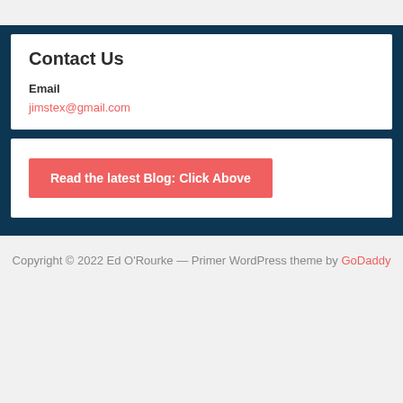Contact Us
Email
jimstex@gmail.com
Read the latest Blog: Click Above
Copyright © 2022 Ed O'Rourke — Primer WordPress theme by GoDaddy